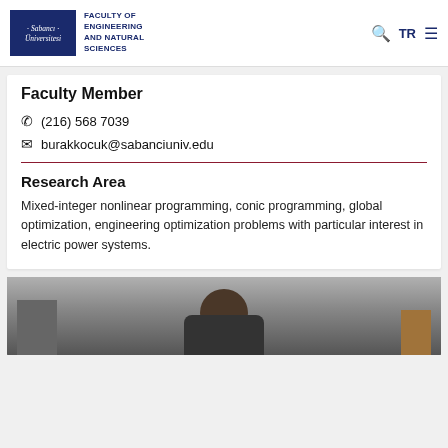Sabancı Universitesi — FACULTY OF ENGINEERING AND NATURAL SCIENCES
Faculty Member
(216) 568 7039
burakkocuk@sabanciuniv.edu
Research Area
Mixed-integer nonlinear programming, conic programming, global optimization, engineering optimization problems with particular interest in electric power systems.
[Figure (photo): Photo of faculty member seated at desk with computer equipment]